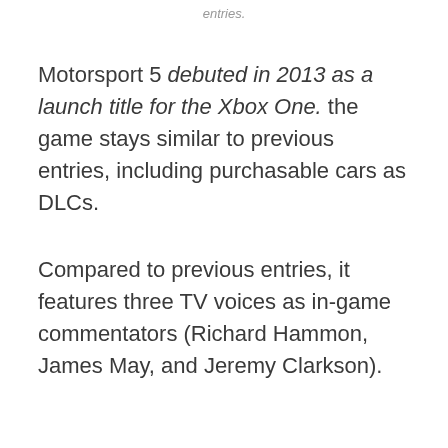entries.
Motorsport 5 debuted in 2013 as a launch title for the Xbox One. the game stays similar to previous entries, including purchasable cars as DLCs.
Compared to previous entries, it features three TV voices as in-game commentators (Richard Hammon, James May, and Jeremy Clarkson).